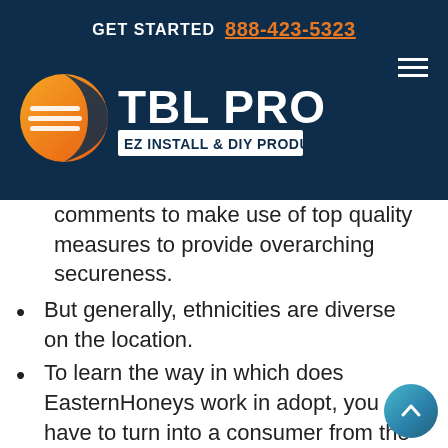GET STARTED 888-423-5323
[Figure (logo): TBL PRO EZ INSTALL & DIY PRODUCTS logo with orange globe-like icon on dark navy background]
comments to make use of top quality measures to provide overarching secureness.
But generally, ethnicities are diverse on the location.
To learn the way in which does EasternHoneys work in adopt, you have to turn into a consumer from the company.